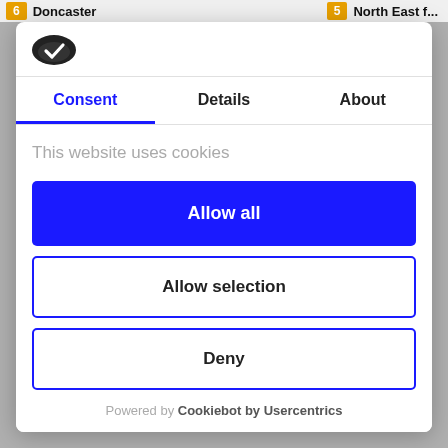6 Doncaster   5 North East f...
[Figure (logo): Cookiebot logo — dark oval with white checkmark/cookie icon]
Consent   Details   About
This website uses cookies
Allow all
Allow selection
Deny
Powered by Cookiebot by Usercentrics